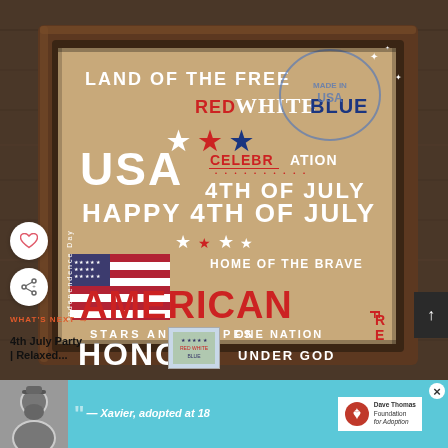[Figure (photo): A framed patriotic American print resting on a wooden surface. The print contains text including 'LAND OF THE FREE', 'RED WHITE BLUE', 'USA CELEBRATION', 'HAPPY 4TH OF JULY', 'HOME OF THE BRAVE', 'AMERICAN', 'STARS AND STRIPES', 'HONOR', 'ONE NATION UNDER GOD', 'FREEDOM', 'Independence Day', 'MADE IN USA' stamp, and an American flag image. The frame is dark walnut wood. There are decorative social sharing UI elements overlaid (heart and share buttons).]
WHAT'S NEXT →
4th July Party | Relaxed...
— Xavier, adopted at 18
Dave Thomas Foundation for Adoption